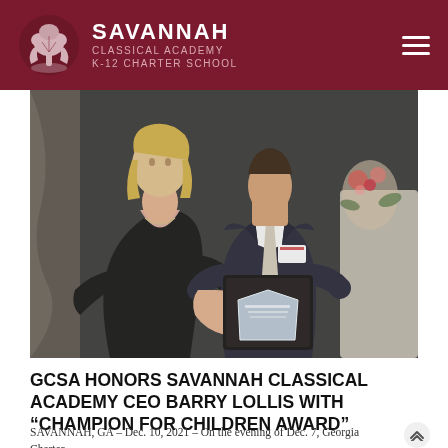SAVANNAH CLASSICAL ACADEMY K-12 CHARTER SCHOOL
[Figure (photo): Two people standing together at an event, a woman in a black dress on the left and a man in a dark suit on the right holding a crystal award in a black box. There are floral decorations visible in the background.]
GCSA HONORS SAVANNAH CLASSICAL ACADEMY CEO BARRY LOLLIS WITH “CHAMPION FOR CHILDREN AWARD”
SAVANNAH, GA – Dec. 10, 2021 – On the evening of Dec. 7, Georgia Charter...